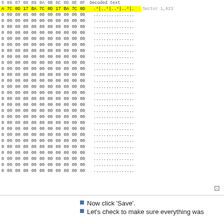[Figure (screenshot): Hex editor view showing sector 1,023 data. Header row with column labels 5,06,07,08,09,0A,0B,0C,0D,0E,0F and 'Decoded text'. First data row highlighted in yellow with hex values 7C 0D 17 BA 7C 0D 17 BA 7C 0D and decoded text '.°|..°|..°|..°|.' and label 'Sector 1,023'. Remaining rows show 00 values with decoded dots. Resize icon at bottom right.]
Now click 'Save'.
Let's check to make sure everything was